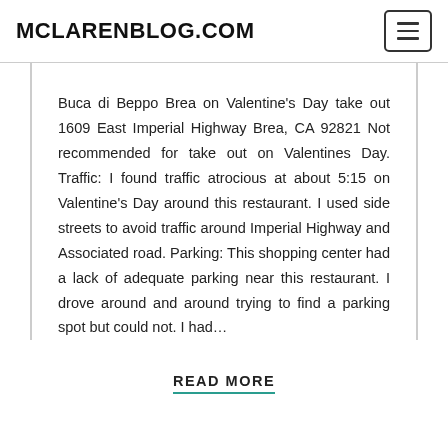MCLARENBLOG.COM
Buca di Beppo Brea on Valentine’s Day take out 1609 East Imperial Highway Brea, CA 92821 Not recommended for take out on Valentines Day. Traffic: I found traffic atrocious at about 5:15 on Valentine’s Day around this restaurant. I used side streets to avoid traffic around Imperial Highway and Associated road. Parking: This shopping center had a lack of adequate parking near this restaurant. I drove around and around trying to find a parking spot but could not. I had…
READ MORE